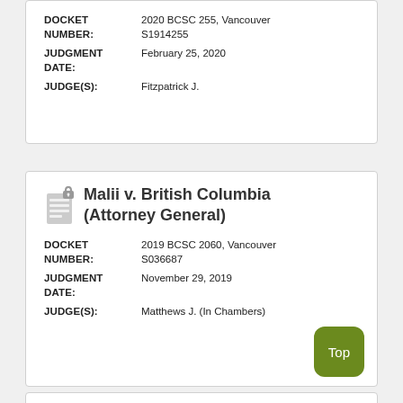| DOCKET NUMBER: | 2020 BCSC 255, Vancouver
S1914255 |
| JUDGMENT DATE: | February 25, 2020 |
| JUDGE(S): | Fitzpatrick J. |
Malii v. British Columbia (Attorney General)
| DOCKET NUMBER: | 2019 BCSC 2060, Vancouver
S036687 |
| JUDGMENT DATE: | November 29, 2019 |
| JUDGE(S): | Matthews J. (In Chambers) |